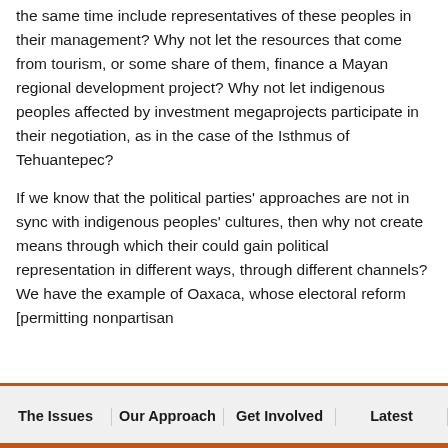the same time include representatives of these peoples in their management? Why not let the resources that come from tourism, or some share of them, finance a Mayan regional development project? Why not let indigenous peoples affected by investment megaprojects participate in their negotiation, as in the case of the Isthmus of Tehuantepec?
If we know that the political parties' approaches are not in sync with indigenous peoples' cultures, then why not create means through which their could gain political representation in different ways, through different channels? We have the example of Oaxaca, whose electoral reform [permitting nonpartisan
The Issues | Our Approach | Get Involved | Latest